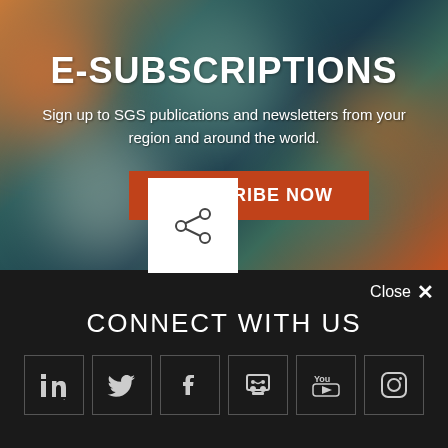E-SUBSCRIPTIONS
Sign up to SGS publications and newsletters from your region and around the world.
SUBSCRIBE NOW
[Figure (other): Share icon overlay on bokeh background]
Close ×
CONNECT WITH US
[Figure (other): Social media icons: LinkedIn, Twitter, Facebook, Slideshare/Speakerdeck, YouTube, Instagram]